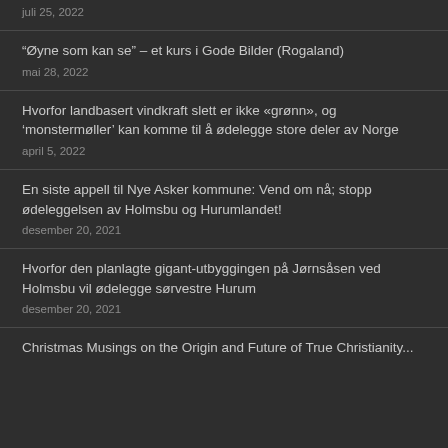juli 25, 2022
“Øyne som kan se” – et kurs i Gode Bilder (Rogaland)
mai 28, 2022
Hvorfor landbasert vindkraft slett er ikke «grønn», og ‘monsterrmøller’ kan komme til å ødelegge store deler av Norge
april 5, 2022
En siste appell til Nye Asker kommune: Vend om nå; stopp ødeleggelsen av Holmsbu og Hurumlandet!
desember 20, 2021
Hvorfor den planlagte gigant-utbyggingen på Jørnsåsen ved Holmsbu vil ødelegge sørvestre Hurum
desember 20, 2021
Christmas Musings on the Origin and Future of True Christianity...